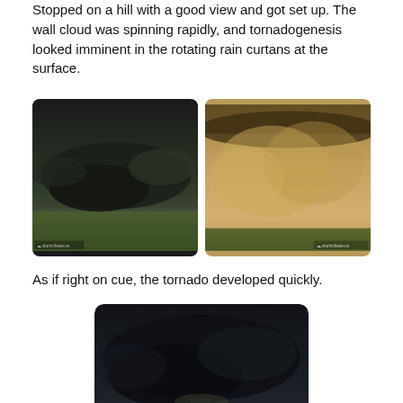Stopped on a hill with a good view and got set up. The wall cloud was spinning rapidly, and tornadogenesis looked imminent in the rotating rain curtans at the surface.
[Figure (photo): Two side-by-side storm photos: left shows a dark supercell with wall cloud over green fields; right shows a tan/ochre dust or rain curtain with dark clouds above flat terrain.]
As if right on cue, the tornado developed quickly.
[Figure (photo): A centered photo of a dark supercell thunderstorm with a funnel/tornado descending over a green field.]
For the next 15 minutes, I did not move as the tornado grew and put on quite a show about a mile to the west. It grew into a large, violent cone, then barrel, then wedge - with horizontal vortices, multiple suction vortices and